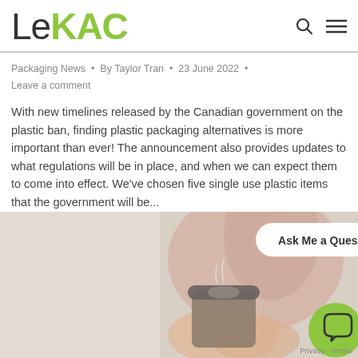LeKAC
Packaging News • By Taylor Tran • 23 June 2022 • Leave a comment
With new timelines released by the Canadian government on the plastic ban, finding plastic packaging alternatives is more important than ever! The announcement also provides updates to what regulations will be in place, and when we can expect them to come into effect. We've chosen five single use plastic items that the government will be...
[Figure (photo): Person holding a reusable coffee cup, with a chat bubble overlay saying 'Ask Me a Question!' and a green circular chat icon]